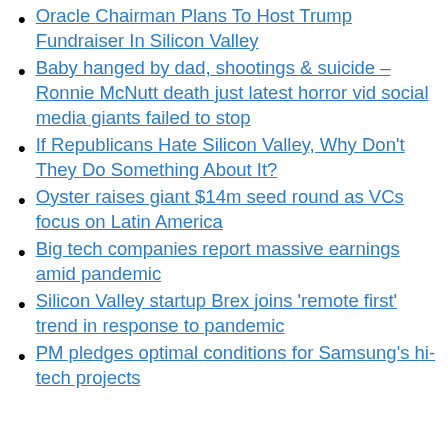Oracle Chairman Plans To Host Trump Fundraiser In Silicon Valley
Baby hanged by dad, shootings & suicide – Ronnie McNutt death just latest horror vid social media giants failed to stop
If Republicans Hate Silicon Valley, Why Don't They Do Something About It?
Oyster raises giant $14m seed round as VCs focus on Latin America
Big tech companies report massive earnings amid pandemic
Silicon Valley startup Brex joins 'remote first' trend in response to pandemic
PM pledges optimal conditions for Samsung's hi-tech projects